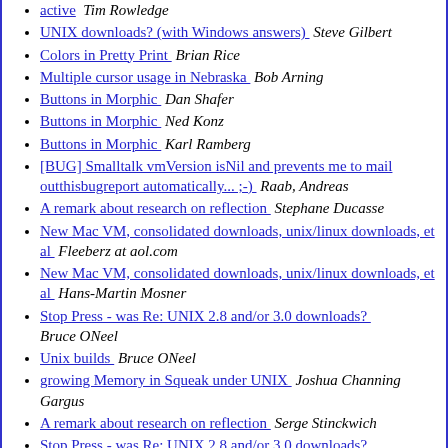active  Tim Rowledge
UNIX downloads? (with Windows answers)  Steve Gilbert
Colors in Pretty Print  Brian Rice
Multiple cursor usage in Nebraska  Bob Arning
Buttons in Morphic  Dan Shafer
Buttons in Morphic  Ned Konz
Buttons in Morphic  Karl Ramberg
[BUG] Smalltalk vmVersion isNil and prevents me to mail outthisbugreport automatically... ;-)  Raab, Andreas
A remark about research on reflection  Stephane Ducasse
New Mac VM, consolidated downloads, unix/linux downloads, et al  Fleeberz at aol.com
New Mac VM, consolidated downloads, unix/linux downloads, et al  Hans-Martin Mosner
Stop Press - was Re: UNIX 2.8 and/or 3.0 downloads?  Bruce ONeel
Unix builds  Bruce ONeel
growing Memory in Squeak under UNIX  Joshua Channing Gargus
A remark about research on reflection  Serge Stinckwich
Stop Press - was Re: UNIX 2.8 and/or 3.0 downloads?  Ian Piumarta
Buttons in Morphic  Dan Shafer